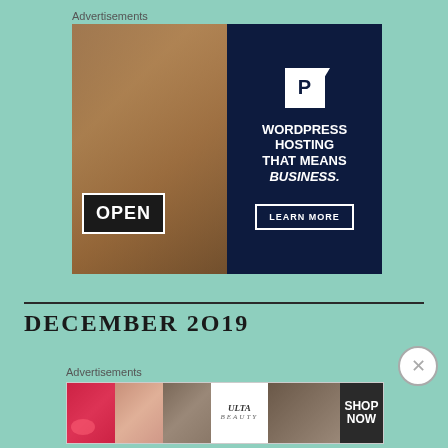Advertisements
[Figure (photo): WordPress Hosting advertisement banner showing a woman holding an OPEN sign on the left, and on the right a dark navy background with a P logo and text: WORDPRESS HOSTING THAT MEANS BUSINESS. with a LEARN MORE button]
DECEMBER 2019
Advertisements
[Figure (photo): Ulta Beauty advertisement strip showing cosmetics images: lips with lipstick, makeup brush, eye with makeup, Ulta Beauty logo, eyes with dramatic makeup, and SHOP NOW call to action]